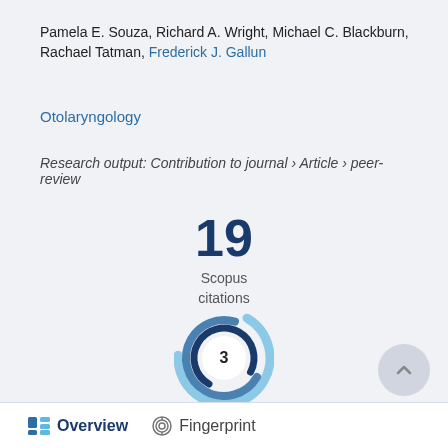Pamela E. Souza, Richard A. Wright, Michael C. Blackburn, Rachael Tatman, Frederick J. Gallun
Otolaryngology
Research output: Contribution to journal › Article › peer-review
[Figure (infographic): Scopus citations count showing 19 citations in large dark blue text with 'Scopus citations' label below]
[Figure (donut-chart): Circular donut/badge showing number 3 in the center, rendered with blue gradient swirl design]
Overview   Fingerprint